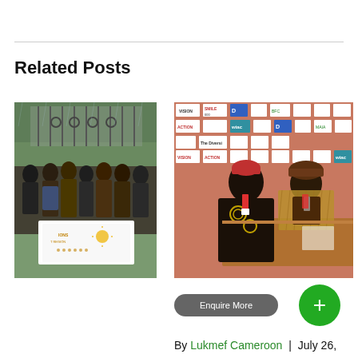Related Posts
[Figure (photo): Group of people standing outdoors in the rain, holding a white banner with logos, in front of an iron gate with green trees in background]
[Figure (photo): Two men in traditional African attire seated at a table in front of a press wall with logos including Vision Action, Wiac, and others]
Enquire More
By Lukmef Cameroon  |  July 26,